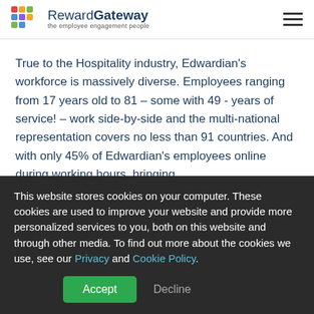Reward Gateway – the employee engagement people
True to the Hospitality industry, Edwardian's workforce is massively diverse. Employees ranging from 17 years old to 81 – some with 49 - years of service! – work side-by-side and the multi-national representation covers no less than 91 countries. And with only 45% of Edwardian's employees online during working hours, bringing
This website stores cookies on your computer. These cookies are used to improve your website and provide more personalized services to you, both on this website and through other media. To find out more about the cookies we use, see our Privacy and Cookie Policy.
Accept  Decline